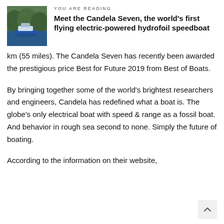YOU ARE READING
Meet the Candela Seven, the world's first flying electric-powered hydrofoil speedboat
km (55 miles). The Candela Seven has recently been awarded the prestigious price Best for Future 2019 from Best of Boats.
By bringing together some of the world's brightest researchers and engineers, Candela has redefined what a boat is. The globe's only electrical boat with speed & range as a fossil boat. And behavior in rough sea second to none. Simply the future of boating.
According to the information on their website,